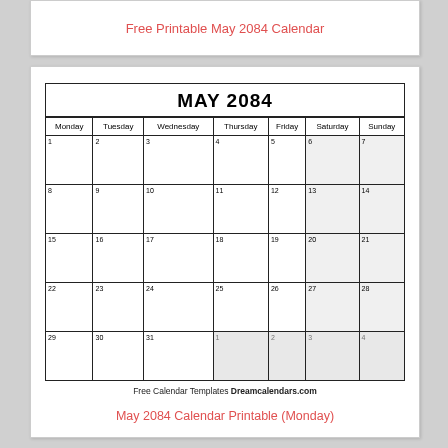Free Printable May 2084 Calendar
[Figure (other): May 2084 monthly calendar grid starting Monday. Rows: Week1: 1,2,3,4,5,6,7; Week2: 8,9,10,11,12,13,14; Week3: 15,16,17,18,19,20,21; Week4: 22,23,24,25,26,27,28; Week5: 29,30,31,1,2,3,4]
Free Calendar Templates Dreamcalendars.com
May 2084 Calendar Printable (Monday)